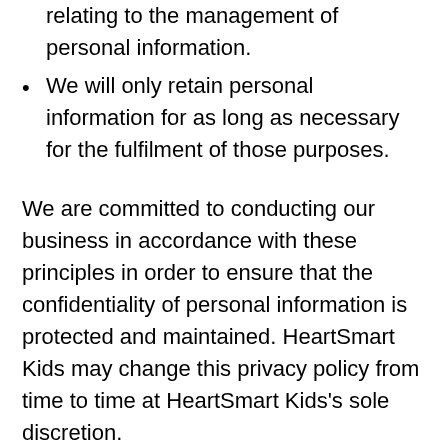relating to the management of personal information.
We will only retain personal information for as long as necessary for the fulfilment of those purposes.
We are committed to conducting our business in accordance with these principles in order to ensure that the confidentiality of personal information is protected and maintained. HeartSmart Kids may change this privacy policy from time to time at HeartSmart Kids’s sole discretion.